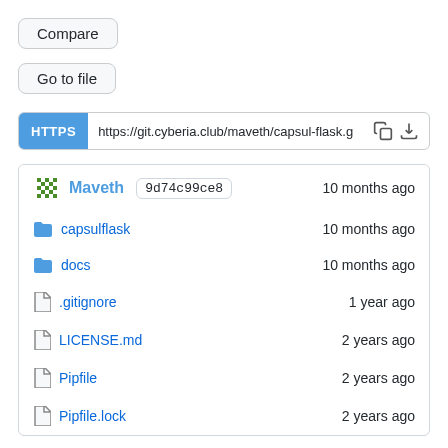[Figure (screenshot): Compare button - rounded rectangle button with text 'Compare']
[Figure (screenshot): Go to file button - rounded rectangle button with text 'Go to file']
[Figure (screenshot): HTTPS URL bar showing https://git.cyberia.club/maveth/capsul-flask.g with copy and download icons]
| Name | Time |
| --- | --- |
| Maveth 9d74c99ce8 | 10 months ago |
| capsulflask | 10 months ago |
| docs | 10 months ago |
| .gitignore | 1 year ago |
| LICENSE.md | 2 years ago |
| Pipfile | 2 years ago |
| Pipfile.lock | 2 years ago |